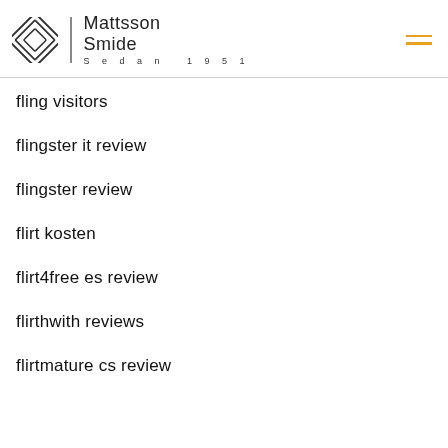Mattsson Smide | Sedan 1951
fling visitors
flingster it review
flingster review
flirt kosten
flirt4free es review
flirthwith reviews
flirtmature cs review